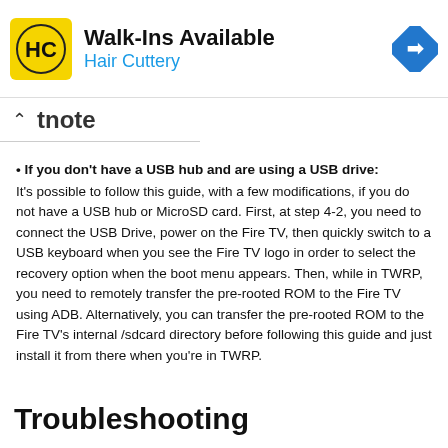[Figure (logo): Hair Cuttery advertisement banner with HC logo, Walk-Ins Available text, and navigation icon]
tnote
If you don't have a USB hub and are using a USB drive: It's possible to follow this guide, with a few modifications, if you do not have a USB hub or MicroSD card. First, at step 4-2, you need to connect the USB Drive, power on the Fire TV, then quickly switch to a USB keyboard when you see the Fire TV logo in order to select the recovery option when the boot menu appears. Then, while in TWRP, you need to remotely transfer the pre-rooted ROM to the Fire TV using ADB. Alternatively, you can transfer the pre-rooted ROM to the Fire TV's internal /sdcard directory before following this guide and just install it from there when you're in TWRP.
Troubleshooting